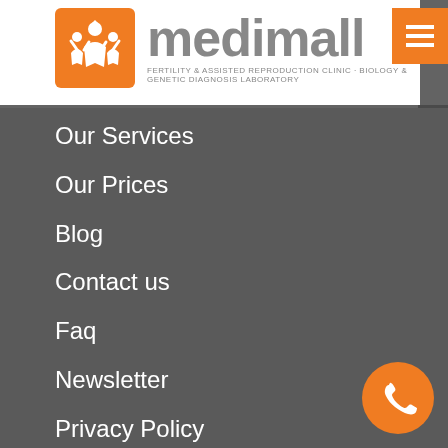[Figure (logo): Medimall logo with orange icon box showing family figures and the brand name 'medimall' in gray with tagline 'Fertility & Assisted Reproduction Clinic · Biology & Genetic Diagnosis Laboratory']
Our Services
Our Prices
Blog
Contact us
Faq
Newsletter
Privacy Policy
Legislation
Social responsibility
Questionnaire
Required tests & documents
Sperm donation